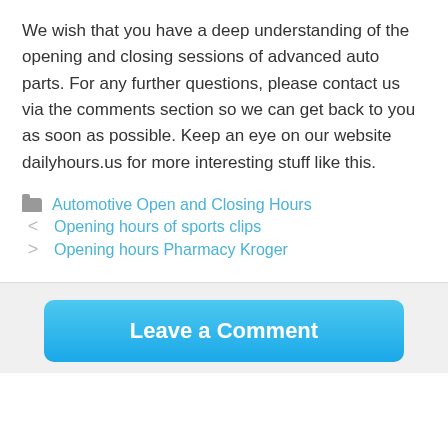We wish that you have a deep understanding of the opening and closing sessions of advanced auto parts. For any further questions, please contact us via the comments section so we can get back to you as soon as possible. Keep an eye on our website dailyhours.us for more interesting stuff like this.
Automotive Open and Closing Hours
Opening hours of sports clips
Opening hours Pharmacy Kroger
Leave a Comment